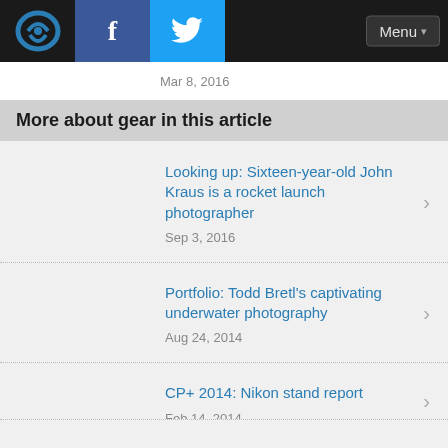Navigation bar with logo, Facebook, Twitter icons and Menu button
Mar 8, 2016
More about gear in this article
Looking up: Sixteen-year-old John Kraus is a rocket launch photographer
Sep 3, 2016
Portfolio: Todd Bretl's captivating underwater photography
Aug 24, 2014
CP+ 2014: Nikon stand report
Feb 14, 2014